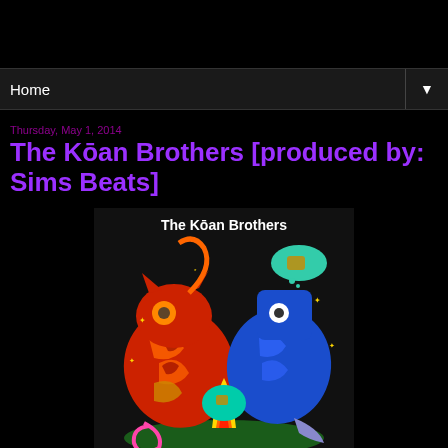Home
Thursday, May 1, 2014
The Kōan Brothers [produced by: Sims Beats]
[Figure (illustration): Album cover artwork for The Kōan Brothers showing two fantastical creatures — a red/orange cat-like creature on the left and a blue creature on the right, facing each other with a fire/flame element between them, on a dark background. Title 'The Kōan Brothers' written in white at the top of the image.]